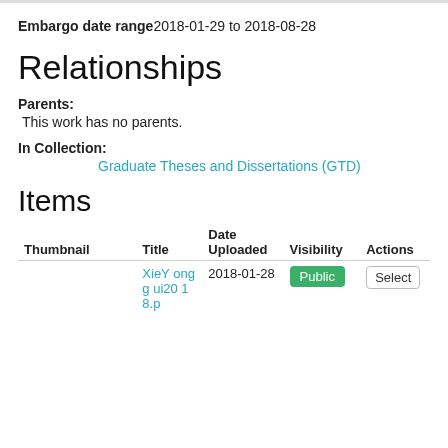Embargo date range: 2018-01-29 to 2018-08-28
Relationships
Parents:
This work has no parents.
In Collection:
Graduate Theses and Dissertations (GTD)
Items
| Thumbnail | Title | Date Uploaded | Visibility | Actions |
| --- | --- | --- | --- | --- |
|  | XieYonggui2018.p | 2018-01-28 | Public | Select |